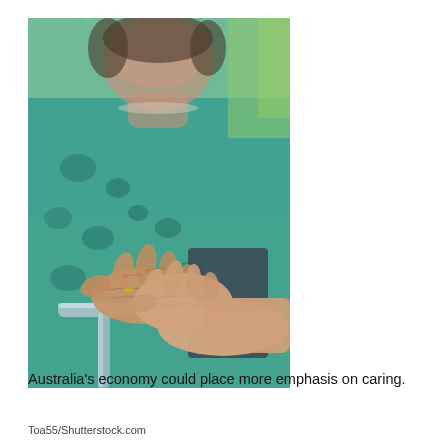[Figure (photo): Close-up photograph of an elderly woman in a teal/green floral outfit sitting in a wheelchair, with a younger person's hand gently resting on and holding the elderly woman's aged hands over the wheelchair handlebar. Background is blurred green foliage.]
Australia's economy could place more emphasis on caring.
Toa55/Shutterstock.com